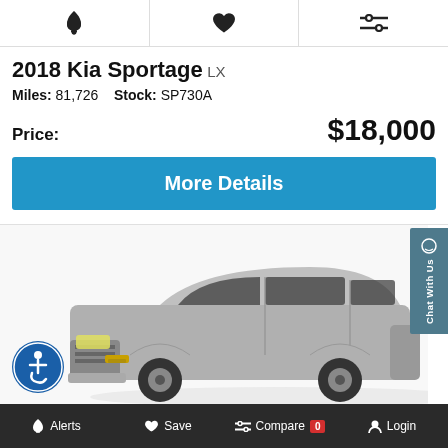[Figure (screenshot): Top navigation icon bar with bell/alerts icon, heart/save icon, and filter/compare icon]
2018 Kia Sportage LX
Miles: 81,726   Stock: SP730A
Price:   $18,000
More Details
[Figure (photo): Silver SUV (Chevrolet Traverse) shown from front-left three-quarter angle on white background]
Alerts   Save   Compare 0   Login